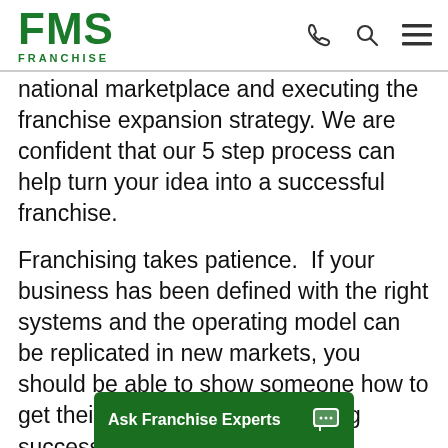FMS FRANCHISE
national marketplace and executing the franchise expansion strategy. We are confident that our 5 step process can help turn your idea into a successful franchise.
Franchising takes patience.  If your business has been defined with the right systems and the operating model can be replicated in new markets, you should be able to show someone how to get their franchise up and running successfully.  Our franchise development firm has seen a direct correlation betwe...
Ask Franchise Experts